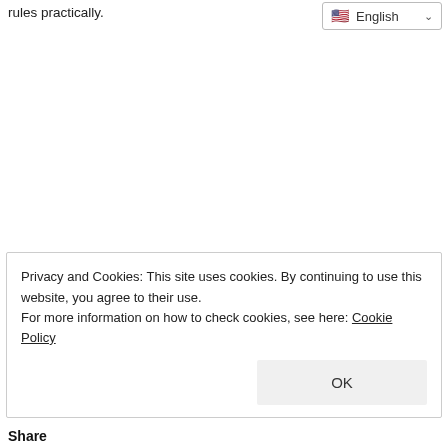rules practically.
🇺🇸 English ∨
Privacy and Cookies: This site uses cookies. By continuing to use this website, you agree to their use.
For more information on how to check cookies, see here: Cookie Policy
OK
Share